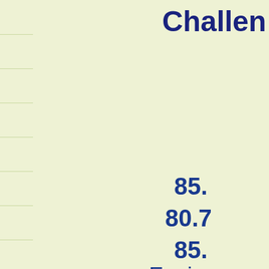Challen
85.
80.7
85.
Engin
Wing
We